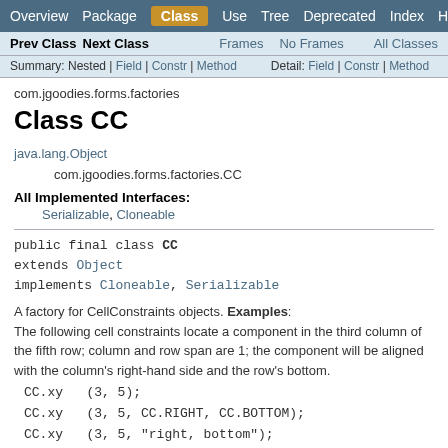Overview | Package | Class | Use | Tree | Deprecated | Index | Help
Prev Class | Next Class | Frames | No Frames | All Classes
Summary: Nested | Field | Constr | Method   Detail: Field | Constr | Method
com.jgoodies.forms.factories
Class CC
java.lang.Object
    com.jgoodies.forms.factories.CC
All Implemented Interfaces:
Serializable, Cloneable
A factory for CellConstraints objects. Examples: The following cell constraints locate a component in the third column of the fifth row; column and row span are 1; the component will be aligned with the column's right-hand side and the row's bottom.
CC.xy   (3, 5);
CC.xy   (3, 5, CC.RIGHT, CC.BOTTOM);
CC.xy   (3, 5, "right, bottom");